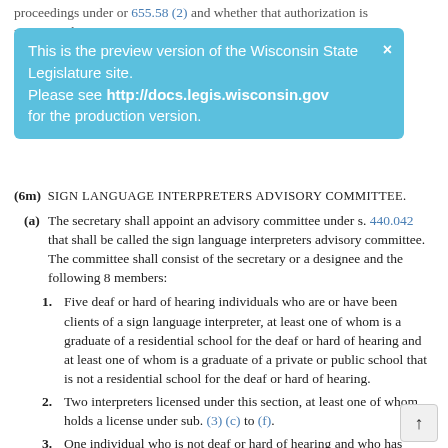proceedings under or 655.58 (2) and whether that authorization is provisional.
This is the preview version of the Wisconsin State Legislature site. Please see http://docs.legis.wisconsin.gov for the production version.
(6m) SIGN LANGUAGE INTERPRETERS ADVISORY COMMITTEE.
(a) The secretary shall appoint an advisory committee under s. 440.042 that shall be called the sign language interpreters advisory committee. The committee shall consist of the secretary or a designee and the following 8 members:
1. Five deaf or hard of hearing individuals who are or have been clients of a sign language interpreter, at least one of whom is a graduate of a residential school for the deaf or hard of hearing and at least one of whom is a graduate of a private or public school that is not a residential school for the deaf or hard of hearing.
2. Two interpreters licensed under this section, at least one of whom holds a license under sub. (3) (c) to (f).
3. One individual who is not deaf or hard of hearing and who has obtained, or represents an entity that has obtained, sign language interpreter services for the benefit of another who is deaf or hard of hearing.
(b) The committee shall do all of the following:
1. Advise the department on all of the following: